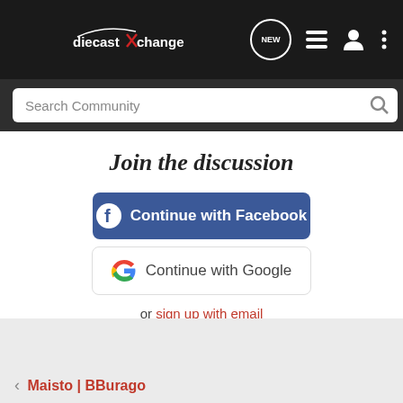diecastXchange
Search Community
Join the discussion
Continue with Facebook
Continue with Google
or sign up with email
Maisto | BBurago
Home  About Us  Terms of Use  Privacy Policy  Help  Business Directory  Contact Us  |